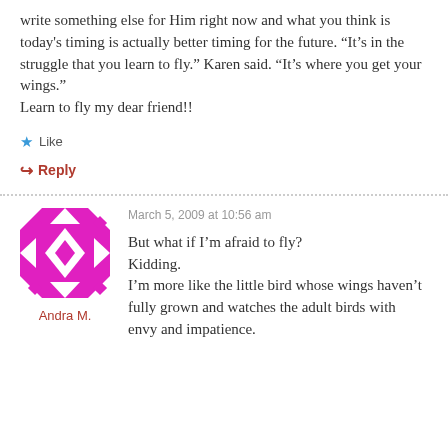write something else for Him right now and what you think is today's timing is actually better timing for the future. “It’s in the struggle that you learn to fly.” Karen said. “It’s where you get your wings.”
Learn to fly my dear friend!!
Like
Reply
March 5, 2009 at 10:56 am
[Figure (illustration): Pink and white geometric quilt-pattern avatar image]
Andra M.
But what if I’m afraid to fly?
Kidding.
I’m more like the little bird whose wings haven’t fully grown and watches the adult birds with envy and impatience.